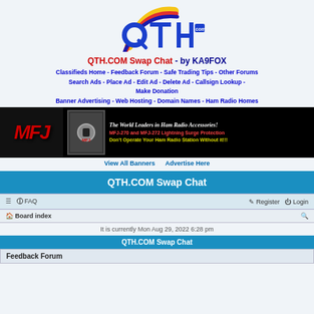[Figure (logo): QTH.com logo with colorful arc and bold blue letters QTH with .com]
QTH.COM Swap Chat - by KA9FOX
Classifieds Home - Feedback Forum - Safe Trading Tips - Other Forums Search Ads - Place Ad - Edit Ad - Delete Ad - Callsign Lookup - Make Donation Banner Advertising - Web Hosting - Domain Names - Ham Radio Homes
[Figure (photo): MFJ banner ad: The World Leaders in Ham Radio Accessories! MFJ-270 and MFJ-272 Lightning Surge Protection. Don't Operate Your Ham Radio Station Without it!!!]
View All Banners    Advertise Here
QTH.COM Swap Chat
FAQ  Register  Login
Board index
It is currently Mon Aug 29, 2022 6:28 pm
QTH.COM Swap Chat
Feedback Forum